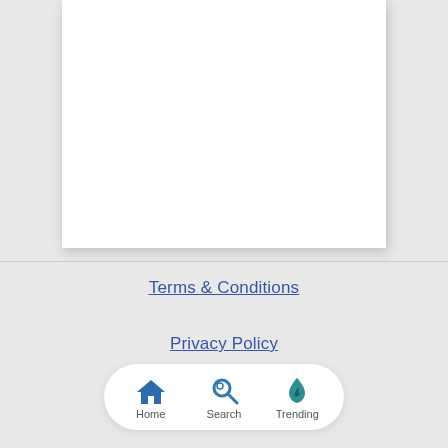[Figure (screenshot): White page card / content area shown partially at top of screen]
Terms & Conditions
Privacy Policy
Contact Us
[Figure (infographic): Navigation bar with Home, Search, and Trending icons and labels]